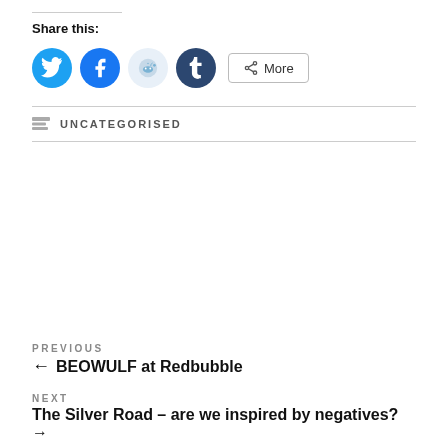or hardcopy print edition: [link]
Share this:
[Figure (infographic): Social share buttons: Twitter (blue circle), Facebook (blue circle), Reddit (light blue circle), Tumblr (dark blue circle), and a More button]
UNCATEGORISED
PREVIOUS
← BEOWULF at Redbubble
NEXT
The Silver Road – are we inspired by negatives? →